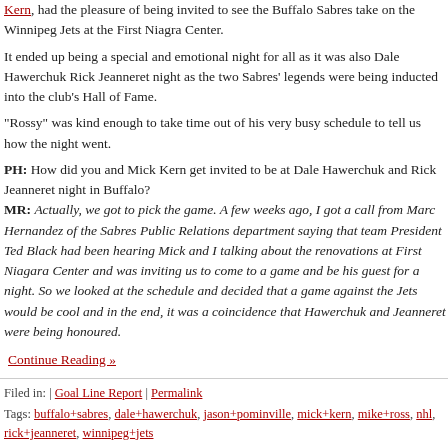Kern, had the pleasure of being invited to see the Buffalo Sabres take on the Winnipeg Jets at the First Niagra Center.
It ended up being a special and emotional night for all as it was also Dale Hawerchuk Rick Jeanneret night as the two Sabres' legends were being inducted into the club's Hall of Fame.
"Rossy" was kind enough to take time out of his very busy schedule to tell us how the night went.
PH: How did you and Mick Kern get invited to be at Dale Hawerchuk and Rick Jeanneret night in Buffalo?
MR: Actually, we got to pick the game. A few weeks ago, I got a call from Marc Hernandez of the Sabres Public Relations department saying that team President Ted Black had been hearing Mick and I talking about the renovations at First Niagara Center and was inviting us to come to a game and be his guest for a night. So we looked at the schedule and decided that a game against the Jets would be cool and in the end, it was a coincidence that Hawerchuk and Jeanneret were being honoured.
Continue Reading »
Filed in: | Goal Line Report | Permalink
Tags: buffalo+sabres, dale+hawerchuk, jason+pominville, mick+kern, mike+ross, nhl, rick+jeanneret, winnipeg+jets
Listen to Me Tonight on NHL Home Ice